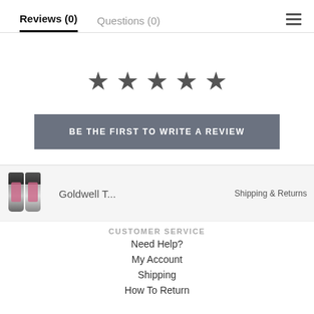Reviews (0)    Questions (0)
[Figure (other): Five black star rating icons in a row]
BE THE FIRST TO WRITE A REVIEW
[Figure (other): Sticky product bar showing two Goldwell hair product tubes with text 'Goldwell T...' and 'Shipping & Returns']
CUSTOMER SERVICE
Need Help?
My Account
Shipping
How To Return